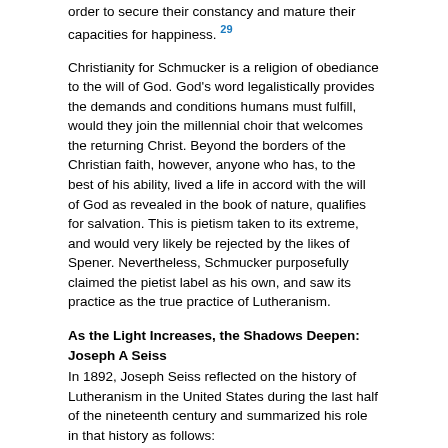order to secure their constancy and mature their capacities for happiness. 29
Christianity for Schmucker is a religion of obediance to the will of God. God's word legalistically provides the demands and conditions humans must fulfill, would they join the millennial choir that welcomes the returning Christ. Beyond the borders of the Christian faith, however, anyone who has, to the best of his ability, lived a life in accord with the will of God as revealed in the book of nature, qualifies for salvation. This is pietism taken to its extreme, and would very likely be rejected by the likes of Spener. Nevertheless, Schmucker purposefully claimed the pietist label as his own, and saw its practice as the true practice of Lutheranism.
As the Light Increases, the Shadows Deepen: Joseph A Seiss
In 1892, Joseph Seiss reflected on the history of Lutheranism in the United States during the last half of the nineteenth century and summarized his role in that history as follows:
The last fifty years have seen many changes and revolutions. It has been an era of important alterations and modifications also in the condition and spirit of our Church in this country, especially in the line of the conservation of its historic faith and cultus. But desirable and salutary as those changes have been, they were not achieved without various severe and trying conflicts and contentions which have not yet ceased. There had crept in a creedless Rationalism; then a fanatical Pietism; then a pressure for a supraconfessional and harsh Exclusivism. All